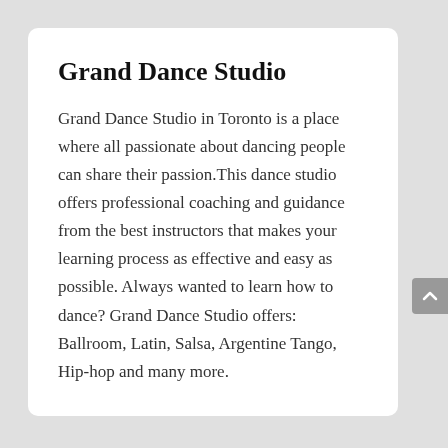Grand Dance Studio
Grand Dance Studio in Toronto is a place where all passionate about dancing people can share their passion.This dance studio offers professional coaching and guidance from the best instructors that makes your learning process as effective and easy as possible. Always wanted to learn how to dance? Grand Dance Studio offers: Ballroom, Latin, Salsa, Argentine Tango, Hip-hop and many more.